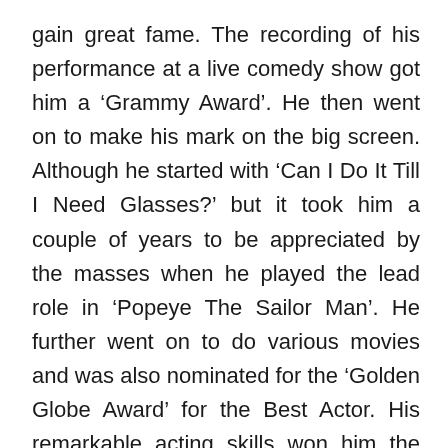gain great fame. The recording of his performance at a live comedy show got him a ‘Grammy Award’. He then went on to make his mark on the big screen. Although he started with ‘Can I Do It Till I Need Glasses?’ but it took him a couple of years to be appreciated by the masses when he played the lead role in ‘Popeye The Sailor Man’. He further went on to do various movies and was also nominated for the ‘Golden Globe Award’ for the Best Actor. His remarkable acting skills won him the reputed Academy Award. Here is a compilation of thoughts and quotations by the witty artist which have been curated from the vast sea of his works. Go through the quotes and sayings by Robin Williams that tackle even the sensitive topics in a